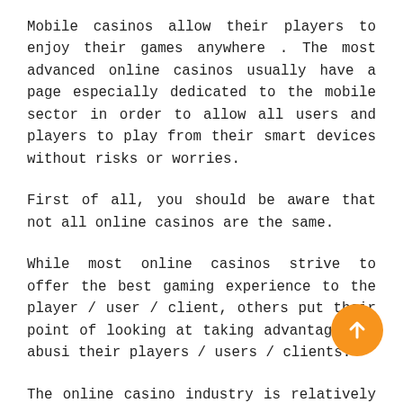Mobile casinos allow their players to enjoy their games anywhere . The most advanced online casinos usually have a page especially dedicated to the mobile sector in order to allow all users and players to play from their smart devices without risks or worries.
First of all, you should be aware that not all online casinos are the same.
While most online casinos strive to offer the best gaming experience to the player / user / client, others put their point of looking at taking advantage and abusing their players / users / clients.
The online casino industry is relatively new